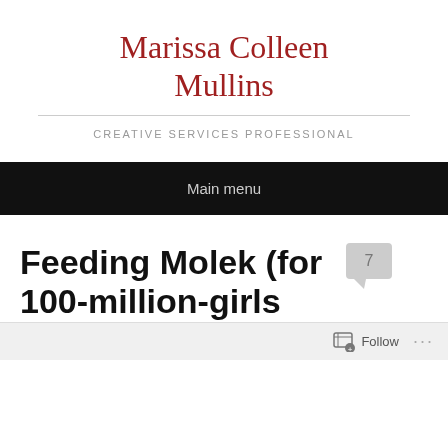Marissa Colleen Mullins
CREATIVE SERVICES PROFESSIONAL
Main menu
Feeding Molek (for 100-million-girls blog)
Follow